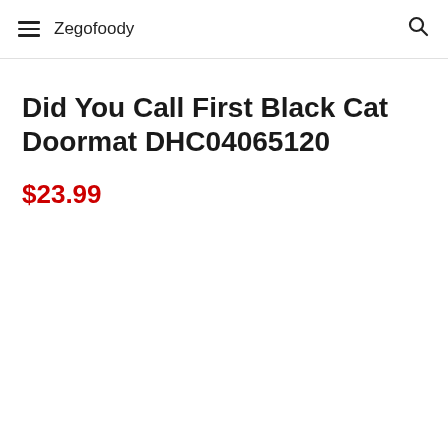Zegofoody
Did You Call First Black Cat Doormat DHC04065120
$23.99